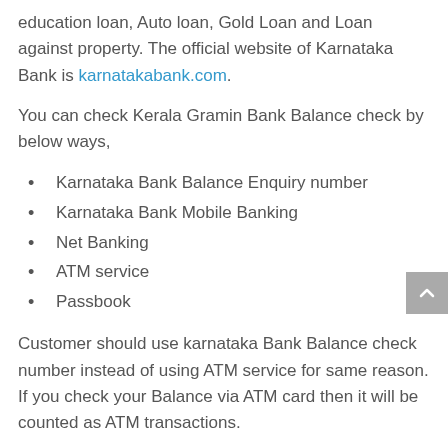education loan, Auto loan, Gold Loan and Loan against property. The official website of Karnataka Bank is karnatakabank.com.
You can check Kerala Gramin Bank Balance check by below ways,
Karnataka Bank Balance Enquiry number
Karnataka Bank Mobile Banking
Net Banking
ATM service
Passbook
Customer should use karnataka Bank Balance check number instead of using ATM service for same reason. If you check your Balance via ATM card then it will be counted as ATM transactions.
Also Read, SBI HRMS Login Guide